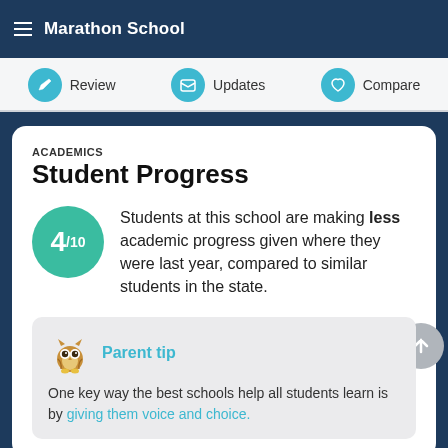Marathon School
Review | Updates | Compare
ACADEMICS
Student Progress
Students at this school are making less academic progress given where they were last year, compared to similar students in the state.
Parent tip
One key way the best schools help all students learn is by giving them voice and choice.